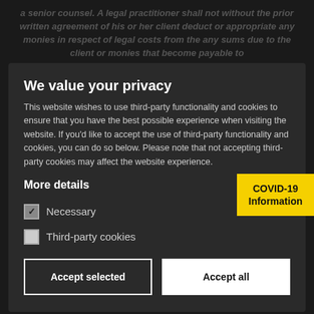a senior counsel. A legal practitioner shall not without the prior written agreement of his or her client deduct or appropriate any monies in respect of legal costs from the any sums due to the client or monies that become payable to
We value your privacy
This website wishes to use third-party functionality and cookies to ensure that you have the best possible experience when visiting the website. If you'd like to accept the use of third-party functionality and cookies, you can do so below. Please note that not accepting third-party cookies may affect the website experience.
[Figure (infographic): Yellow COVID-19 Information badge in top right of modal]
Rogers Solicitors
More details
Dublin 2, Ireland
DCE YAY
Necessary
Third-party cookies
Suite 306, The Lynel Building
Accept selected
Accept all